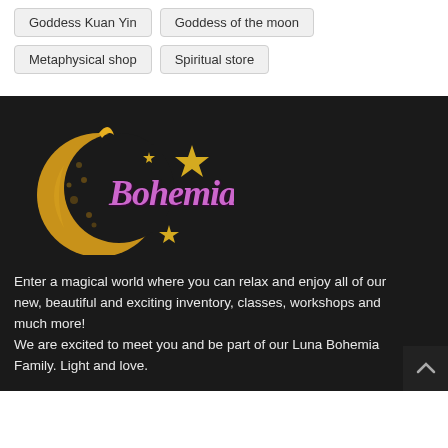Goddess Kuan Yin
Goddess of the moon
Metaphysical shop
Spiritual store
[Figure (logo): Bohemia logo with golden crescent moon and purple cursive text 'Bohemia' with stars]
Enter a magical world where you can relax and enjoy all of our new, beautiful and exciting inventory, classes, workshops and much more!
We are excited to meet you and be part of our Luna Bohemia Family. Light and love.